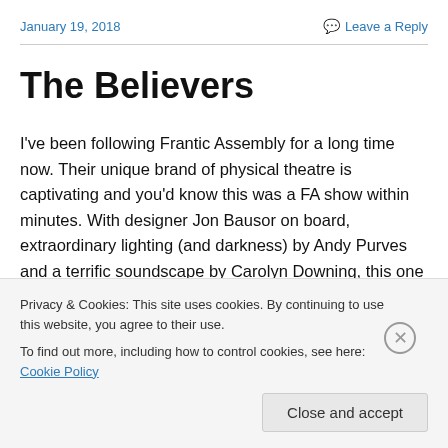January 19, 2018   Leave a Reply
The Believers
I've been following Frantic Assembly for a long time now. Their unique brand of physical theatre is captivating and you'd know this was a FA show within minutes. With designer Jon Bausor on board, extraordinary lighting (and darkness) by Andy Purves and a terrific soundscape by Carolyn Downing, this one adds mystery and atmosphere
Privacy & Cookies: This site uses cookies. By continuing to use this website, you agree to their use.
To find out more, including how to control cookies, see here: Cookie Policy
Close and accept